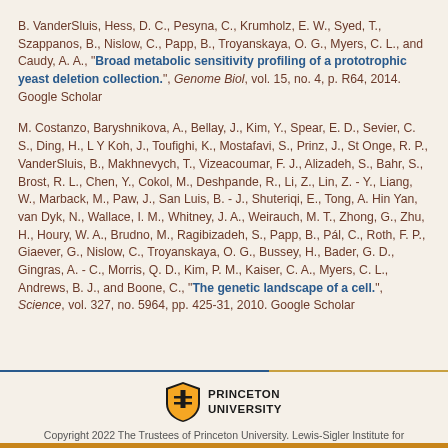B. VanderSluis, Hess, D. C., Pesyna, C., Krumholz, E. W., Syed, T., Szappanos, B., Nislow, C., Papp, B., Troyanskaya, O. G., Myers, C. L., and Caudy, A. A., "Broad metabolic sensitivity profiling of a prototrophic yeast deletion collection.", Genome Biol, vol. 15, no. 4, p. R64, 2014. Google Scholar
M. Costanzo, Baryshnikova, A., Bellay, J., Kim, Y., Spear, E. D., Sevier, C. S., Ding, H., L Y Koh, J., Toufighi, K., Mostafavi, S., Prinz, J., St Onge, R. P., VanderSluis, B., Makhnevych, T., Vizeacoumar, F. J., Alizadeh, S., Bahr, S., Brost, R. L., Chen, Y., Cokol, M., Deshpande, R., Li, Z., Lin, Z. - Y., Liang, W., Marback, M., Paw, J., San Luis, B. - J., Shuteriqi, E., Tong, A. Hin Yan, van Dyk, N., Wallace, I. M., Whitney, J. A., Weirauch, M. T., Zhong, G., Zhu, H., Houry, W. A., Brudno, M., Ragibizadeh, S., Papp, B., Pál, C., Roth, F. P., Giaever, G., Nislow, C., Troyanskaya, O. G., Bussey, H., Bader, G. D., Gingras, A. - C., Morris, Q. D., Kim, P. M., Kaiser, C. A., Myers, C. L., Andrews, B. J., and Boone, C., "The genetic landscape of a cell.", Science, vol. 327, no. 5964, pp. 425-31, 2010. Google Scholar
Copyright 2022 The Trustees of Princeton University. Lewis-Sigler Institute for Integrative Genomics. Shortcuts FAQs Contact Issues?